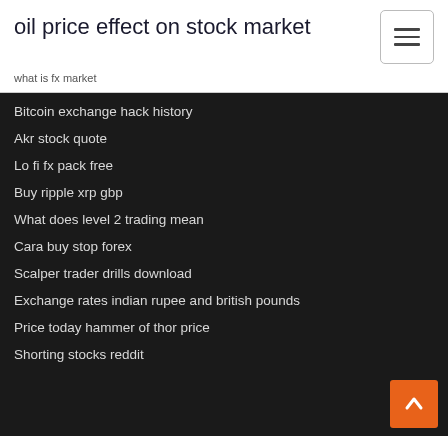oil price effect on stock market
what is fx market
Bitcoin exchange hack history
Akr stock quote
Lo fi fx pack free
Buy ripple xrp gbp
What does level 2 trading mean
Cara buy stop forex
Scalper trader drills download
Exchange rates indian rupee and british pounds
Price today hammer of thor price
Shorting stocks reddit